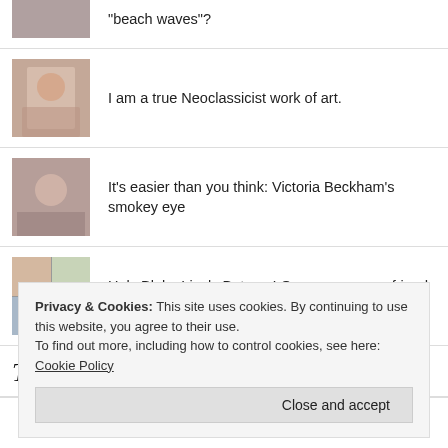"beach waves"?
I am a true Neoclassicist work of art.
It's easier than you think: Victoria Beckham's smokey eye
Holy Blake Lively Batman! Or, my gorgeous friend Katie!
The Bright Blush
Privacy & Cookies: This site uses cookies. By continuing to use this website, you agree to their use.
To find out more, including how to control cookies, see here: Cookie Policy
Close and accept